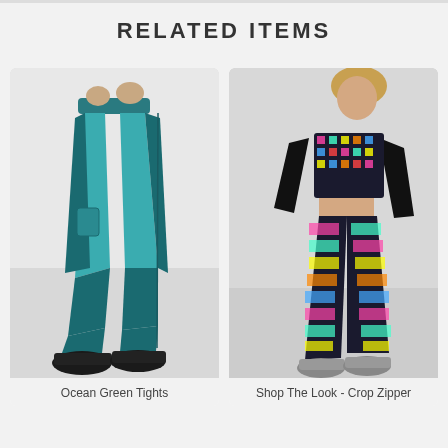RELATED ITEMS
[Figure (photo): Woman wearing teal/ocean green athletic tights with dark teal accent panels and pockets, paired with black sneakers]
Ocean Green Tights
[Figure (photo): Woman wearing colorful patterned leggings with multicolor pixel/geometric print and a black crop zipper top with long sleeves]
Shop The Look - Crop Zipper